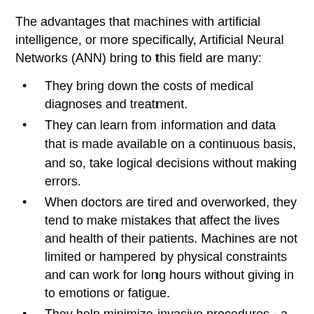The advantages that machines with artificial intelligence, or more specifically, Artificial Neural Networks (ANN) bring to this field are many:
They bring down the costs of medical diagnoses and treatment.
They can learn from information and data that is made available on a continuous basis, and so, take logical decisions without making errors.
When doctors are tired and overworked, they tend to make mistakes that affect the lives and health of their patients. Machines are not limited or hampered by physical constraints and can work for long hours without giving in to emotions or fatigue.
They help minimize invasive procedures - a case in point is the ANN program used last year by the Mayo Clinic to help doctors accurately diagnose patients with the heart infection endocarditis without the need for an invasive procedure, thus reducing overall healthcare costs and costs to the patient as well.